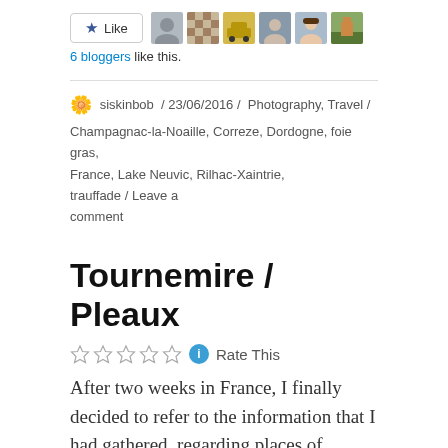[Figure (other): Like button with star icon and six blogger avatar thumbnails]
6 bloggers like this.
🌼 siskinbob / 23/06/2016 / Photography, Travel / Champagnac-la-Noaille, Correze, Dordogne, foie gras, France, Lake Neuvic, Rilhac-Xaintrie, trauffade / Leave a comment
Tournemire / Pleaux
☆☆☆☆☆ ℹ Rate This
After two weeks in France, I finally decided to refer to the information that I had gathered, regarding places of interest in the region of our